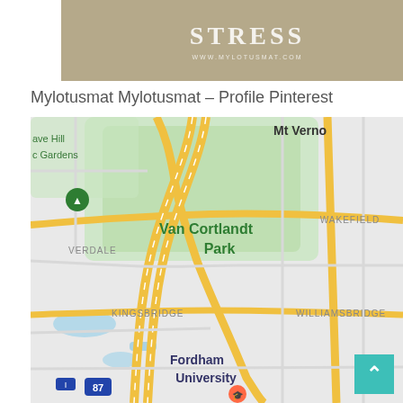[Figure (other): Tan/khaki colored banner with large serif text 'STRESS' and URL 'www.mylotusmat.com' below]
Mylotusmat Mylotusmat – Profile Pinterest
[Figure (map): Google Maps screenshot showing Van Cortlandt Park area in the Bronx, New York. Visible labels include: Mt Verno, ave Hill, c Gardens, Van Cortlandt Park, WAKEFIELD, VERDALE, KINGSBRIDGE, WILLIAMSBRIDGE, Fordham University, route 87 marker.]
[Figure (other): Teal/turquoise back-to-top button with upward arrow in bottom right corner]